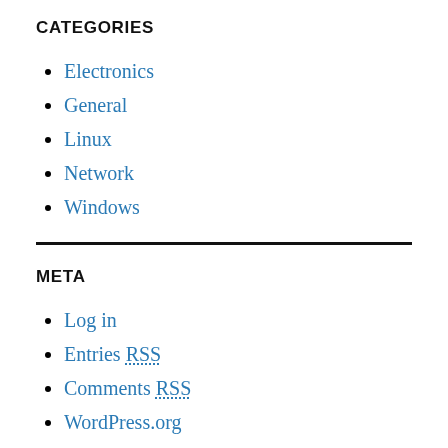CATEGORIES
Electronics
General
Linux
Network
Windows
META
Log in
Entries RSS
Comments RSS
WordPress.org